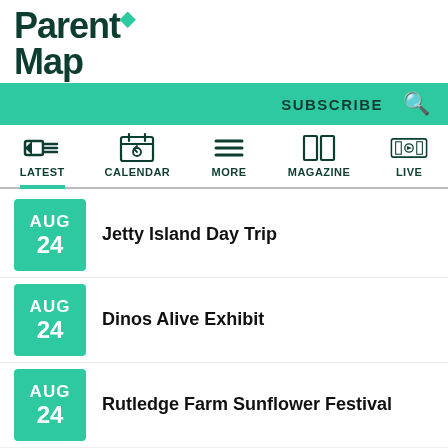ParentMap
SUBSCRIBE
LATEST | CALENDAR | MORE | MAGAZINE | LIVE
AUG 24 – Jetty Island Day Trip
AUG 24 – Dinos Alive Exhibit
AUG 24 – Rutledge Farm Sunflower Festival
AUG 24 – Remlinger Farms Family Fun Park